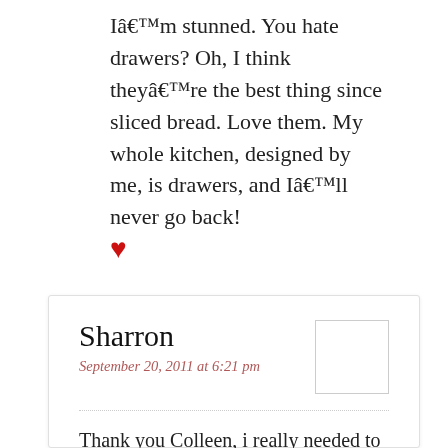Iâ€™m stunned. You hate drawers? Oh, I think theyâ€™re the best thing since sliced bread. Love them. My whole kitchen, designed by me, is drawers, and Iâ€™ll never go back!
[Figure (illustration): Red heart icon/symbol]
Sharron
September 20, 2011 at 6:21 pm
Thank you Colleen, i really needed to hear that, MIL is difficult at the best of times. When she downsized she gave a tv cabinet to her daughter, then procedded to say to me, ‘ If i find that to be dirty i will go mad, she must keep it clean’ I’m